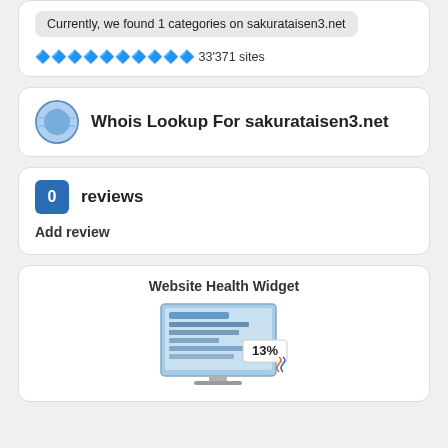Currently, we found 1 categories on sakurataisen3.net
🔷🔷🔷🔷🔷🔷🔷🔷🔷🔷 33'371 sites
Whois Lookup For sakurataisen3.net
0 reviews
Add review
Website Health Widget
[Figure (screenshot): Website health widget showing a browser screenshot with 13% health score badge]